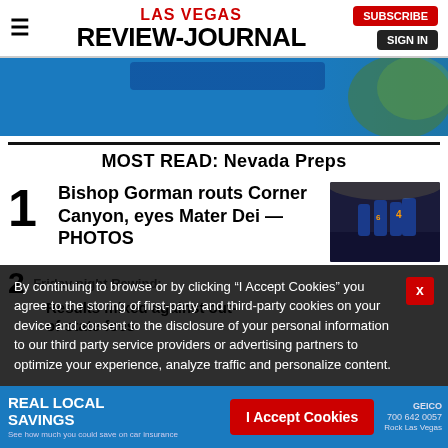LAS VEGAS REVIEW-JOURNAL | SUBSCRIBE | SIGN IN
[Figure (photo): Advertisement banner with blue background and baseball texture on right side]
MOST READ: Nevada Preps
1 Bishop Gorman routs Corner Canyon, eyes Mater Dei — PHOTOS
[Figure (photo): Football players in dark uniforms on a lit field at night]
2 Friday night Rewind: Results mixed against out-of-state foes
By continuing to browse or by clicking “I Accept Cookies” you agree to the storing of first-party and third-party cookies on your device and consent to the disclosure of your personal information to our third party service providers or advertising partners to optimize your experience, analyze traffic and personalize content.
I Accept Cookies